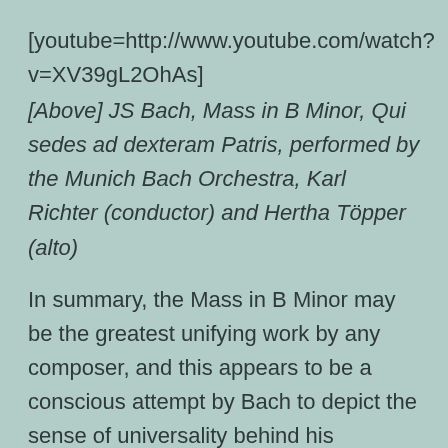[youtube=http://www.youtube.com/watch?v=XV39gL2OhAs]
[Above] JS Bach, Mass in B Minor, Qui sedes ad dexteram Patris, performed by the Munich Bach Orchestra, Karl Richter (conductor) and Hertha Töpper (alto)
In summary, the Mass in B Minor may be the greatest unifying work by any composer, and this appears to be a conscious attempt by Bach to depict the sense of universality behind his spirituality. Albert Schweitzer described the work as 'one in which the sublime and intimate